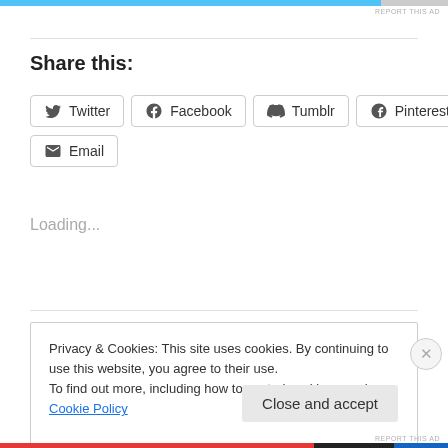[Figure (other): Top advertisement bar in blue/grey]
REPORT THIS AD
Share this:
[Figure (other): Social share buttons: Twitter, Facebook, Tumblr, Pinterest, Reddit, Email]
Loading...
Privacy & Cookies: This site uses cookies. By continuing to use this website, you agree to their use. To find out more, including how to control cookies, see here: Cookie Policy
Close and accept